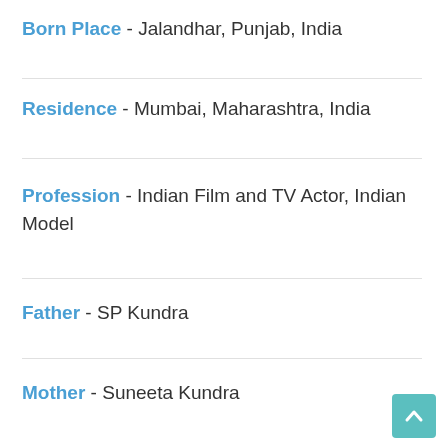Born Place - Jalandhar, Punjab, India
Residence - Mumbai, Maharashtra, India
Profession - Indian Film and TV Actor, Indian Model
Father - SP Kundra
Mother - Suneeta Kundra
[Figure (photo): A man wearing sunglasses and a light grey blazer over a white shirt, posing at an &TV event backdrop with Hindi text.]